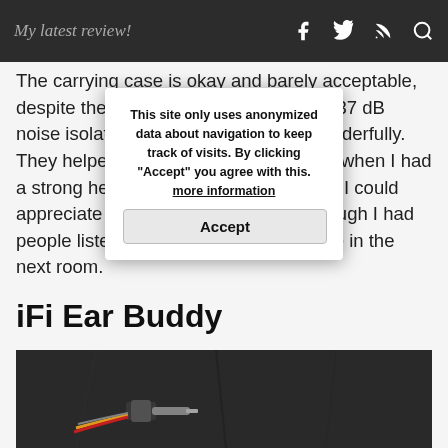My latest review!
The carrying case is okay and barely acceptable, despite the fact that the ear plugs offer 37 dB noise isolation. I suggest they work wonderfully. They helped me through a couple days when I had a strong headache caused by sounds – I could appreciate the calm of silence even though I had people listening to music at high volume in the next room.
iFi Ear Buddy
[Figure (photo): Photo of the iFi Ear Buddy audio adapter/connector cable against a dark fabric background]
This site only uses anonymized data about navigation to keep track of visits. By clicking "Accept" you agree with this. more information
Accept